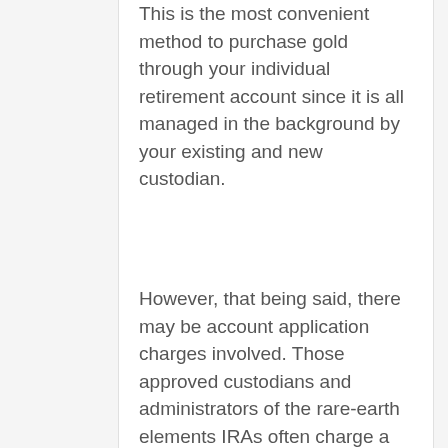This is the most convenient method to purchase gold through your individual retirement account since it is all managed in the background by your existing and new custodian.
However, that being said, there may be account application charges involved. Those approved custodians and administrators of the rare-earth elements IRAs often charge a processing charge in order